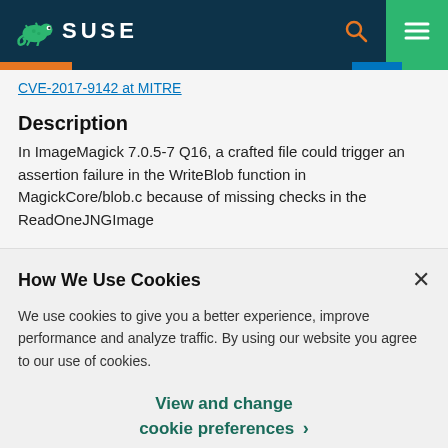SUSE
CVE-2017-9142 at MITRE
Description
In ImageMagick 7.0.5-7 Q16, a crafted file could trigger an assertion failure in the WriteBlob function in MagickCore/blob.c because of missing checks in the ReadOneJNGImage
How We Use Cookies
We use cookies to give you a better experience, improve performance and analyze traffic. By using our website you agree to our use of cookies.
View and change cookie preferences >